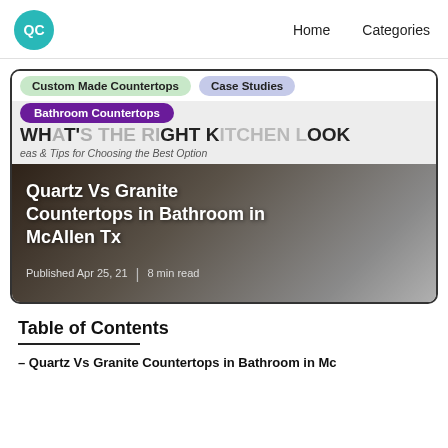QC | Home | Categories
[Figure (screenshot): Blog website screenshot showing dropdown menus (Custom Made Countertops, Case Studies, Bathroom Countertops) overlaid on a blog post card with title 'WHATS THE RIGHT KITCHEN LOOK, Ideas & Tips for Choosing the Best Option' in light background, and below a dark kitchen photo with title 'Quartz Vs Granite Countertops in Bathroom in McAllen Tx', Published Apr 25, 21 | 8 min read]
Table of Contents
– Quartz Vs Granite Countertops in Bathroom in Mc